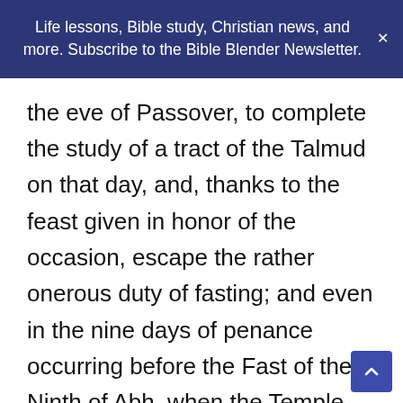Life lessons, Bible study, Christian news, and more. Subscribe to the Bible Blender Newsletter.
the eve of Passover, to complete the study of a tract of the Talmud on that day, and, thanks to the feast given in honor of the occasion, escape the rather onerous duty of fasting; and even in the nine days of penance occurring before the Fast of the Ninth of Abh, when the Temple was destroyed, when meat was not to be eaten and wine was not to be drunk, the same subterfuge would be resorted to, in order that a feast might be given and thus break the fast of the nine days. Apart from